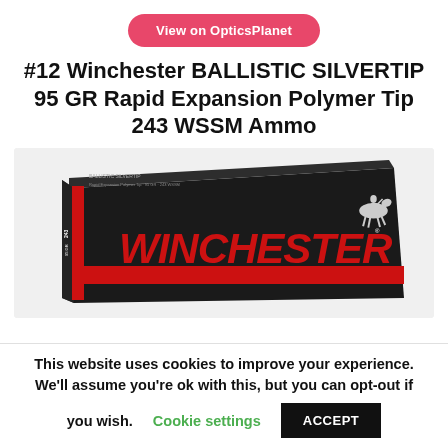View on OpticsPlanet
#12 Winchester BALLISTIC SILVERTIP 95 GR Rapid Expansion Polymer Tip 243 WSSM Ammo
[Figure (photo): Winchester Ballistic Silvertip 243 WSSM ammunition box — black box with red Winchester logo and a horseman icon]
This website uses cookies to improve your experience. We'll assume you're ok with this, but you can opt-out if you wish.  Cookie settings  ACCEPT